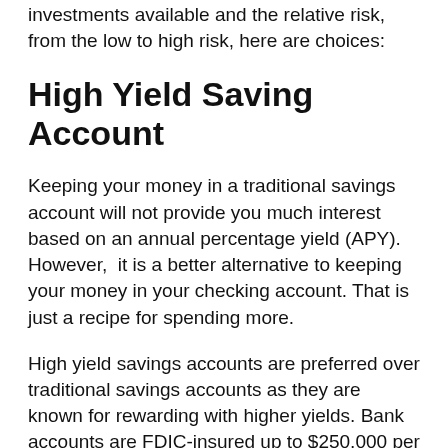investments available and the relative risk, from the low to high risk, here are choices:
High Yield Saving Account
Keeping your money in a traditional savings account will not provide you much interest based on an annual percentage yield (APY). However,  it is a better alternative to keeping your money in your checking account. That is just a recipe for spending more.
High yield savings accounts are preferred over traditional savings accounts as they are known for rewarding with higher yields. Bank accounts are FDIC-insured up to $250,000 per account, so there is no risk. Restrictions